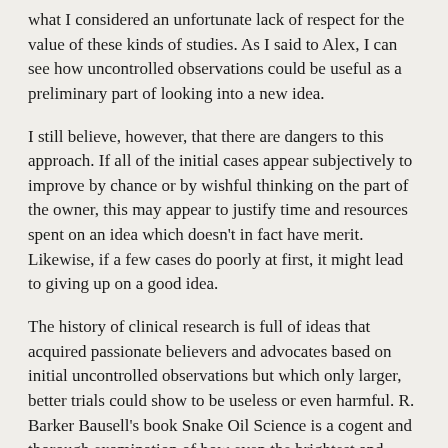what I considered an unfortunate lack of respect for the value of these kinds of studies. As I said to Alex, I can see how uncontrolled observations could be useful as a preliminary part of looking into a new idea.
I still believe, however, that there are dangers to this approach. If all of the initial cases appear subjectively to improve by chance or by wishful thinking on the part of the owner, this may appear to justify time and resources spent on an idea which doesn't in fact have merit. Likewise, if a few cases do poorly at first, it might lead to giving up on a good idea.
The history of clinical research is full of ideas that acquired passionate believers and advocates based on initial uncontrolled observations but which only larger, better trials could show to be useless or even harmful. R. Barker Bausell's book Snake Oil Science is a cogent and thorough examination of how even the brightest and most conscientioous scientists are not immune to the factors that generate mistaken impressions, and that strict controls are necessary to guard against this. The article seemed to say that